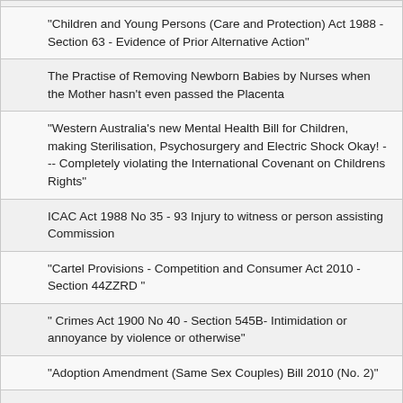"Children and Young Persons (Care and Protection) Act 1988 - Section 63 - Evidence of Prior Alternative Action"
The Practise of Removing Newborn Babies by Nurses when the Mother hasn't even passed the Placenta
"Western Australia's new Mental Health Bill for Children, making Sterilisation, Psychosurgery and Electric Shock Okay! --- Completely violating the International Covenant on Childrens Rights"
ICAC Act 1988 No 35 - 93 Injury to witness or person assisting Commission
"Cartel Provisions - Competition and Consumer Act 2010 - Section 44ZZRD "
" Crimes Act 1900 No 40 - Section 545B- Intimidation or annoyance by violence or otherwise"
"Adoption Amendment (Same Sex Couples) Bill 2010 (No. 2)"
"Surveillance Devices Act 2007 - Section 11 Prohibition on Communication or Publication of Private Conversations or Recordings of Activities"